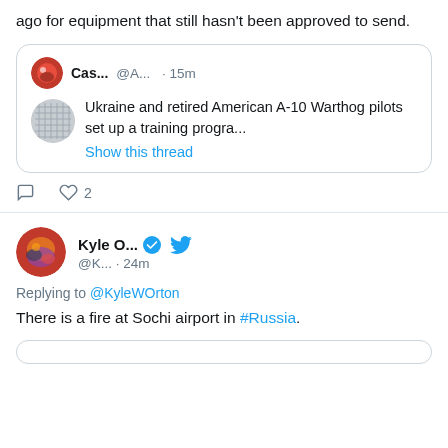ago for equipment that still hasn't been approved to send.
[Figure (screenshot): Quoted tweet from Cas... @A... · 15m with avatar, showing text: 'Ukraine and retired American A-10 Warthog pilots set up a training progra...' and 'Show this thread' link, with a gray avatar image inside]
Tweet actions: reply icon, heart icon with count 2
[Figure (screenshot): Second tweet section with avatar of Kyle O... with verified badge and Twitter bird icon, handle @K... · 24m, replying to @KyleWOrton, text: 'There is a fire at Sochi airport in #Russia.']
Replying to @KyleWOrton
There is a fire at Sochi airport in #Russia.